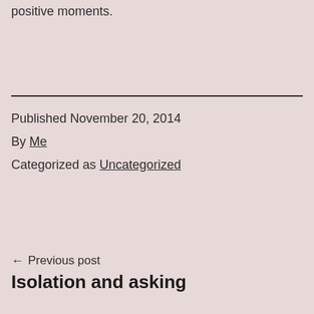positive moments.
Published November 20, 2014
By Me
Categorized as Uncategorized
← Previous post
Isolation and asking